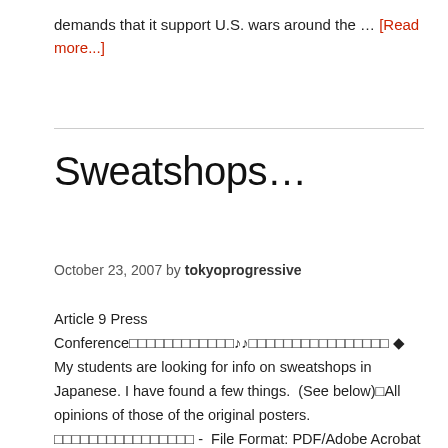demands that it support U.S. wars around the … [Read more...]
Sweatshops…
October 23, 2007 by tokyoprogressive
Article 9 Press Conference□□□□□□□□□□□□♪♪□□□□□□□□□□□□□□□□ ◆ My students are looking for info on sweatshops in Japanese. I have found a few things.  (See below)□All opinions of those of the original posters. □□□□□□□□□□□□□□□□ -  File Format: PDF/Adobe Acrobat - View as HTML PLAY FAIR □□□□□□□□□□□□□□□□□□□□□□□□□□□□□□□□□□□□□□□□□□□  ※□□□□□□□□□□ □□□□□ … [Read more...]